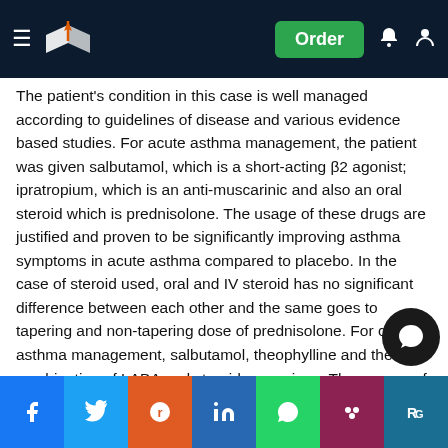Navigation bar with logo, Order button, notification and user icons
The patient's condition in this case is well managed according to guidelines of disease and various evidence based studies. For acute asthma management, the patient was given salbutamol, which is a short-acting β2 agonist; ipratropium, which is an anti-muscarinic and also an oral steroid which is prednisolone. The usage of these drugs are justified and proven to be significantly improving asthma symptoms in acute asthma compared to placebo. In the case of steroid used, oral and IV steroid has no significant difference between each other and the same goes to tapering and non-tapering dose of prednisolone. For chronic asthma management, salbutamol, theophylline and the combination of LABA and steroid were given. The usages of these drugs are also justified. Salbutamol can cause significant improvement in asthma symptoms in asthma patients. The combination of LABA and steroids is significantly better compared to LABA or steroids alone.
Social share bar: Facebook, Twitter, Reddit, LinkedIn, WhatsApp, Mendeley, ResearchGate